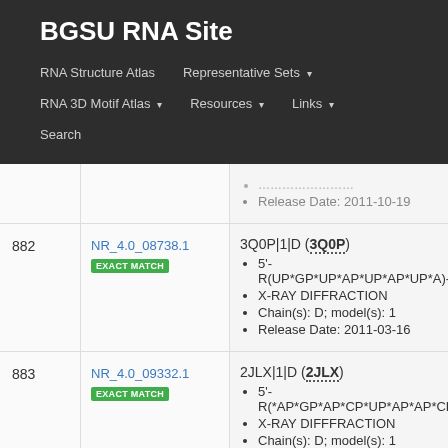BGSU RNA Site
RNA Structure Atlas | Representative Sets | RNA 3D Motif Atlas | Resources | Links | Search
| # | ID | Info |
| --- | --- | --- |
|  |  | Release Date: 2011-10-19 |
| 882 | NR_4.0_08738.1 EXACT MATCH | 3Q0P|1|D (3Q0P)
5'-R(UP*GP*UP*AP*UP*AP*UP*A)-3'
X-RAY DIFFRACTION
Chain(s): D; model(s): 1
Release Date: 2011-03-16 |
| 883 | NR_4.0_09332.1 EXACT MATCH | 2JLX|1|D (2JLX)
5'-R(*AP*GP*AP*CP*UP*AP*AP*CP*AP*A...
X-RAY DIFFFRACTION
Chain(s): D; model(s): 1
Release Date: 2008-11-25 |